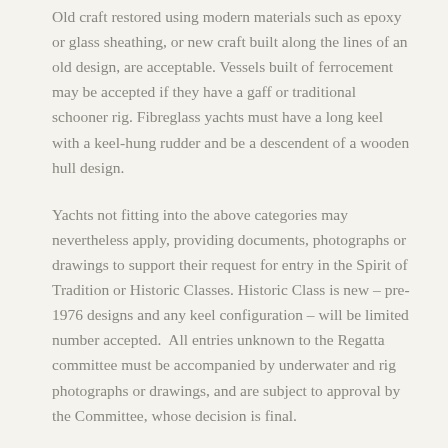Old craft restored using modern materials such as epoxy or glass sheathing, or new craft built along the lines of an old design, are acceptable. Vessels built of ferrocement may be accepted if they have a gaff or traditional schooner rig. Fibreglass yachts must have a long keel with a keel-hung rudder and be a descendent of a wooden hull design.
Yachts not fitting into the above categories may nevertheless apply, providing documents, photographs or drawings to support their request for entry in the Spirit of Tradition or Historic Classes. Historic Class is new – pre-1976 designs and any keel configuration – will be limited number accepted.  All entries unknown to the Regatta committee must be accompanied by underwater and rig photographs or drawings, and are subject to approval by the Committee, whose decision is final.